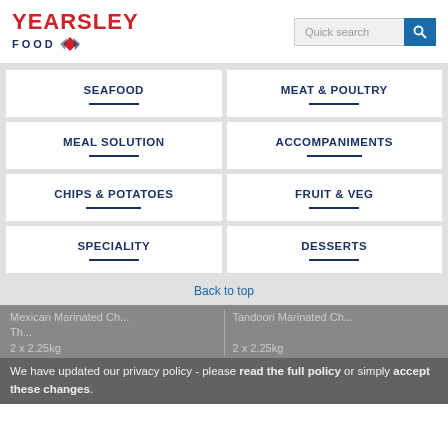[Figure (logo): Yearsley Food logo with red text and diamond shapes]
Quick search
SEAFOOD
MEAT & POULTRY
MEAL SOLUTION
ACCOMPANIMENTS
CHIPS & POTATOES
FRUIT & VEG
SPECIALITY
DESSERTS
Back to top
Mexican Marinated Ch... 2 x 2.25kg
Tandoori Marinated Ch... 2 x 2.25kg
We have updated our privacy policy - please read the full policy or simply accept these changes.